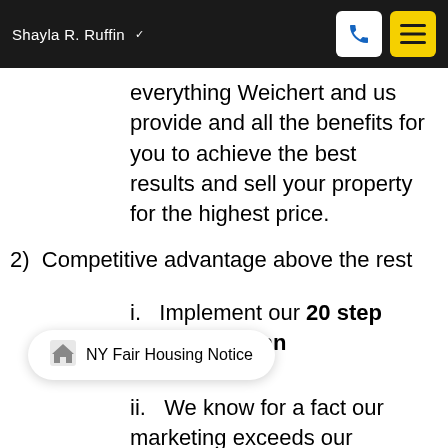Shayla R. Ruffin
everything Weichert and us provide and all the benefits for you to achieve the best results and sell your property for the highest price.
2) Competitive advantage above the rest
i. Implement our 20 step marketing plan
ii. We know for a fact our marketing exceeds our competition's
NY Fair Housing Notice